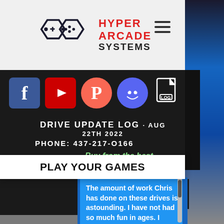[Figure (logo): Hyper Arcade Systems logo with two hexagonal controller icons]
HYPER ARCADE SYSTEMS
[Figure (infographic): Social media icons row: Facebook, YouTube, Patreon, Discord, LOG file icon]
DRIVE UPDATE LOG - AUG 22TH 2022
PHONE: 437-217-O166
PLAY YOUR GAMES
Buy from the best
10 Dec 2019
The amount of work Chris has done on these drives is astounding. I have not had so much fun in ages. I cannot rate this highly enough. U
[Figure (infographic): Four gold star rating icons on black background]